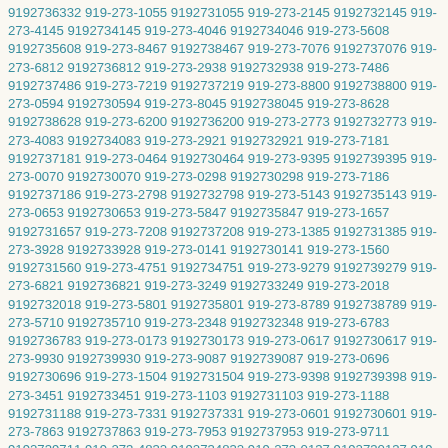9192736332 919-273-1055 9192731055 919-273-2145 9192732145 919-273-4145 9192734145 919-273-4046 9192734046 919-273-5608 9192735608 919-273-8467 9192738467 919-273-7076 9192737076 919-273-6812 9192736812 919-273-2938 9192732938 919-273-7486 9192737486 919-273-7219 9192737219 919-273-8800 9192738800 919-273-0594 9192730594 919-273-8045 9192738045 919-273-8628 9192738628 919-273-6200 9192736200 919-273-2773 9192732773 919-273-4083 9192734083 919-273-2921 9192732921 919-273-7181 9192737181 919-273-0464 9192730464 919-273-9395 9192739395 919-273-0070 9192730070 919-273-0298 9192730298 919-273-7186 9192737186 919-273-2798 9192732798 919-273-5143 9192735143 919-273-0653 9192730653 919-273-5847 9192735847 919-273-1657 9192731657 919-273-7208 9192737208 919-273-1385 9192731385 919-273-3928 9192733928 919-273-0141 9192730141 919-273-1560 9192731560 919-273-4751 9192734751 919-273-9279 9192739279 919-273-6821 9192736821 919-273-3249 9192733249 919-273-2018 9192732018 919-273-5801 9192735801 919-273-8789 9192738789 919-273-5710 9192735710 919-273-2348 9192732348 919-273-6783 9192736783 919-273-0173 9192730173 919-273-0617 9192730617 919-273-9930 9192739930 919-273-9087 9192739087 919-273-0696 9192730696 919-273-1504 9192731504 919-273-9398 9192739398 919-273-3451 9192733451 919-273-1103 9192731103 919-273-1188 9192731188 919-273-7331 9192737331 919-273-0601 9192730601 919-273-7863 9192737863 919-273-7953 9192737953 919-273-9711 9192739711 919-273-4832 9192734832 919-273-0137 9192730137 919-273-6519 9192736519 919-273-9196 9192739196 919-273-0417